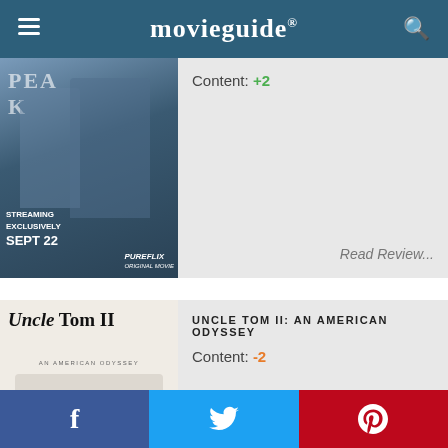movieguide®
[Figure (photo): Movie poster for a film streaming on PureFlix, SEPT 22, showing two people in winter outdoor setting with mountain peaks]
Content: +2
Read Review...
[Figure (photo): Movie poster for Uncle Tom II: An American Odyssey showing a man sitting at a desk surrounded by books]
UNCLE TOM II: AN AMERICAN ODYSSEY
Content: -2
Read Review...
Facebook | Twitter | Pinterest